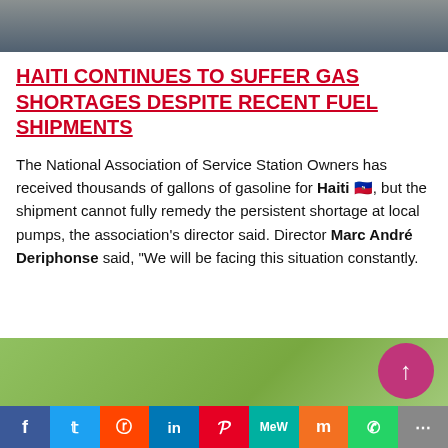[Figure (photo): Partial top photo showing people, cropped at top of page]
HAITI CONTINUES TO SUFFER GAS SHORTAGES DESPITE RECENT FUEL SHIPMENTS
The National Association of Service Station Owners has received thousands of gallons of gasoline for Haiti 🇭🇹, but the shipment cannot fully remedy the persistent shortage at local pumps, the association’s director said. Director Marc André Deriphonse said, “We will be facing this situation constantly.
[Figure (photo): Partial bottom photo showing people in green setting with circular purple arrow button]
[Figure (infographic): Social media sharing bar with icons: Facebook, Twitter, Reddit, LinkedIn, Pinterest, MeWe, Mix, WhatsApp, Share]